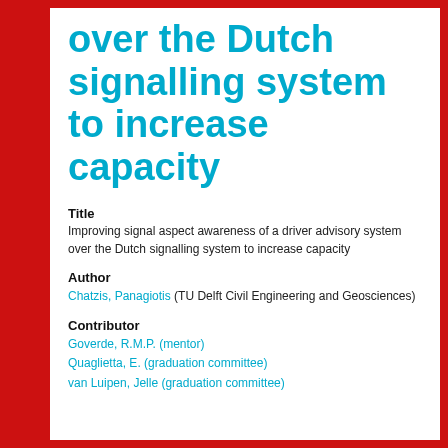over the Dutch signalling system to increase capacity
Title
Improving signal aspect awareness of a driver advisory system over the Dutch signalling system to increase capacity
Author
Chatzis, Panagiotis (TU Delft Civil Engineering and Geosciences)
Contributor
Goverde, R.M.P. (mentor)
Quaglietta, E. (graduation committee)
van Luipen, Jelle (graduation committee)